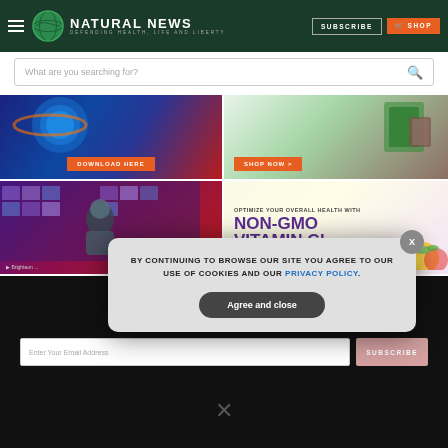NATURAL NEWS — DEFENDING HEALTH, LIFE AND LIBERTY
What are you searching for?
[Figure (photo): Ad banner: Download Here button on globe/space background]
[Figure (photo): Ad banner: Shop Now for mouthwash/cinnamon products]
[Figure (photo): Ad banner: Brighteon video player with man in studio]
[Figure (infographic): Ad banner: Optimize your overall health with NON-GMO VITAMIN C!]
GET THE WORLD'S BEST NATURAL HEALTH NEWSLETTER DELIVERED STRAIGHT TO YOUR INBOX
Enter Your Email Address
SUBSCRIBE
BY CONTINUING TO BROWSE OUR SITE YOU AGREE TO OUR USE OF COOKIES AND OUR PRIVACY POLICY.
Agree and close